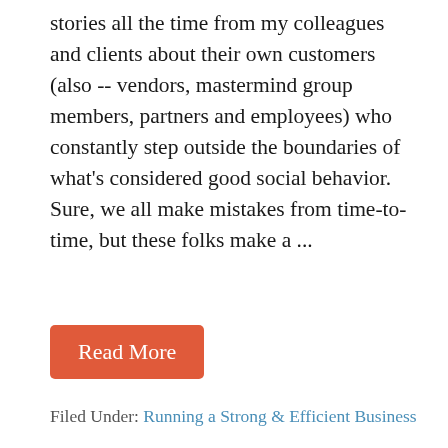stories all the time from my colleagues and clients about their own customers (also -- vendors, mastermind group members, partners and employees) who constantly step outside the boundaries of what's considered good social behavior. Sure, we all make mistakes from time-to-time, but these folks make a ...
Read More
Filed Under: Running a Strong & Efficient Business